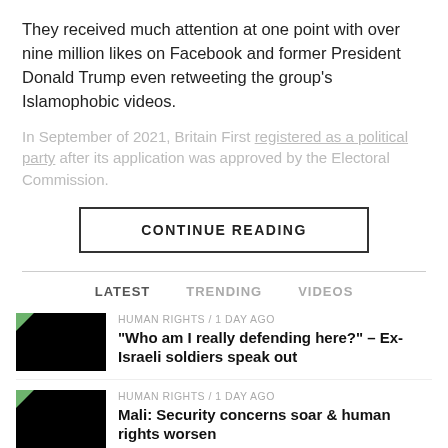They received much attention at one point with over nine million likes on Facebook and former President Donald Trump even retweeting the group's Islamophobic videos.
In September of 2021, Britain First registered as a political party after its application was approved by the Electoral Commission.
CONTINUE READING
LATEST   TRENDING   VIDEOS
HUMAN RIGHTS / 1 day ago
“Who am I really defending here?” – Ex-Israeli soldiers speak out
HUMAN RIGHTS / 1 day ago
Mali: Security concerns soar & human rights worsen
CRIME / 1 day ago
Opinion: Don’t blame Muslims for Salman Rushdie’s attack